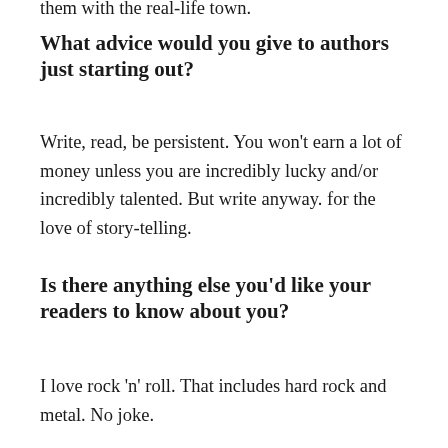them with the real-life town.
What advice would you give to authors just starting out?
Write, read, be persistent. You won’t earn a lot of money unless you are incredibly lucky and/or incredibly talented. But write anyway. for the love of story-telling.
Is there anything else you’d like your readers to know about you?
I love rock ‘n’ roll. That includes hard rock and metal. No joke.